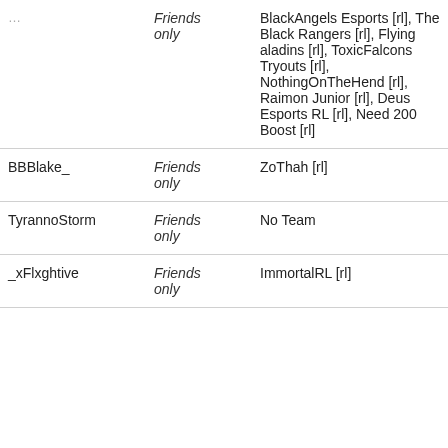| Username | Privacy | Team | Action |
| --- | --- | --- | --- |
| ... | Friends only | BlackAngels Esports [rl], The Black Rangers [rl], Flying aladins [rl], ToxicFalcons Tryouts [rl], NothingOnTheHend [rl], Raimon Junior [rl], Deus Esports RL [rl], Need 200 Boost [rl] | View P... |
| BBBlake_ | Friends only | ZoThah [rl] | View P... |
| TyrannoStorm | Friends only | No Team | View P... |
| _xFlxghtive | Friends only | ImmortalRL [rl] | View P... |
| ... | ... | ... | View P... |